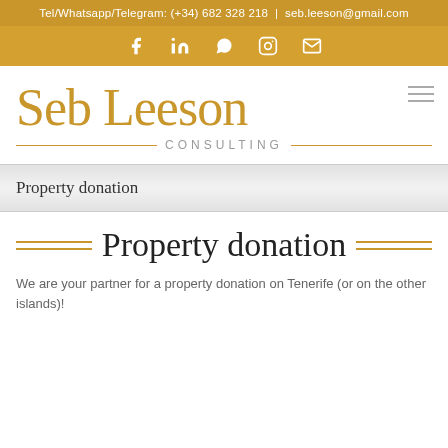Tel/Whatsapp/Telegram: (+34) 682 328 218 | seb.leeson@gmail.com
[Figure (infographic): Social media icons bar (Facebook, LinkedIn, WhatsApp, Instagram, Email) on golden background]
Seb Leeson CONSULTING
Property donation
Property donation
We are your partner for a property donation on Tenerife (or on the other islands)!